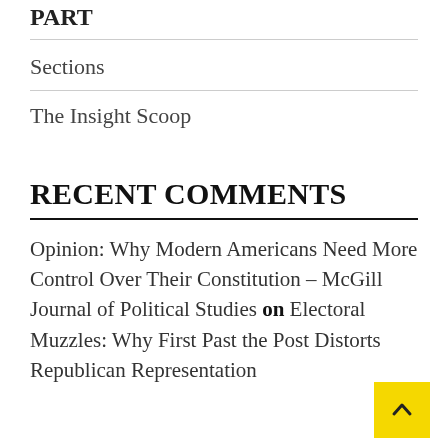PART
Sections
The Insight Scoop
RECENT COMMENTS
Opinion: Why Modern Americans Need More Control Over Their Constitution – McGill Journal of Political Studies on Electoral Muzzles: Why First Past the Post Distorts Republican Representation